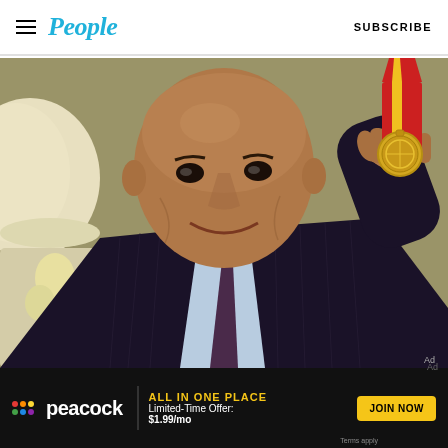People — SUBSCRIBE
[Figure (photo): A bald man in a dark pinstripe suit holding up a gold medal with red and yellow ribbon, smiling at the camera. A person in a white hat is partially visible on the left.]
[Figure (infographic): Peacock streaming service advertisement banner: ALL IN ONE PLACE — Limited-Time Offer: $1.99/mo — JOIN NOW button. Terms apply.]